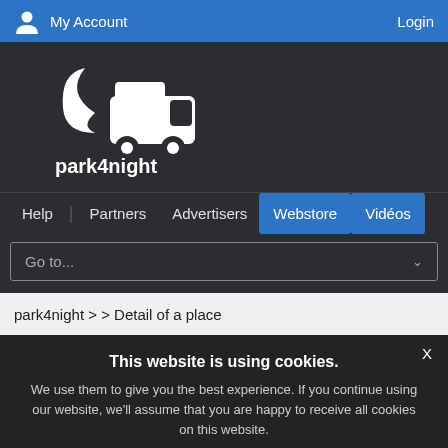My Account   Login
[Figure (logo): park4night logo — white campervan with crescent moon on dark background, text 'park4night' below]
Help  Partners  Advertisers  Webstore  Vidéos
Go to...
park4night > > Detail of a place
This website is using cookies. We use them to give you the best experience. If you continue using our website, we'll assume that you are happy to receive all cookies on this website. Continue  Learn more